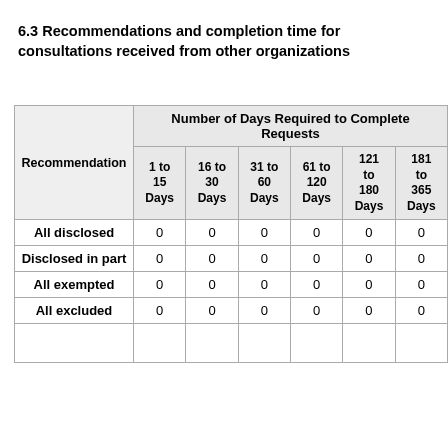6.3 Recommendations and completion time for consultations received from other organizations
| Recommendation | 1 to 15 Days | 16 to 30 Days | 31 to 60 Days | 61 to 120 Days | 121 to 180 Days | 181 to 365 Days |
| --- | --- | --- | --- | --- | --- | --- |
| All disclosed | 0 | 0 | 0 | 0 | 0 | 0 |
| Disclosed in part | 0 | 0 | 0 | 0 | 0 | 0 |
| All exempted | 0 | 0 | 0 | 0 | 0 | 0 |
| All excluded | 0 | 0 | 0 | 0 | 0 | 0 |